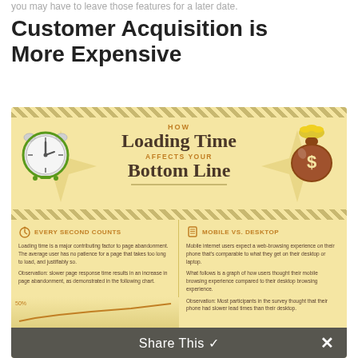you may have to leave those features for a later date.
Customer Acquisition is More Expensive
[Figure (infographic): Infographic titled 'How Loading Time Affects Your Bottom Line' with cream/yellow background and diagonal stripe borders. Features a clock icon on the left and a money bag on the right. Below are two sections: 'Every Second Counts' describing loading time and page abandonment, and 'Mobile vs. Desktop' describing mobile vs desktop browsing expectations. A partial line chart is visible at the bottom left.]
Share This